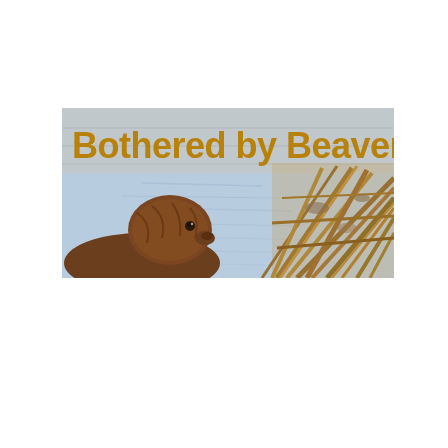[Figure (photo): A banner image showing a beaver in water next to a pile of sticks/reeds, with the bold golden-brown text 'Bothered by Beavers?' overlaid on the upper left of the image.]